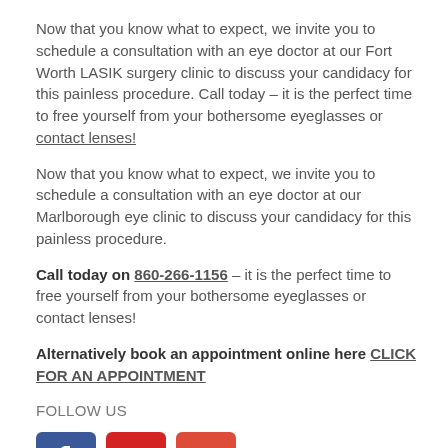Now that you know what to expect, we invite you to schedule a consultation with an eye doctor at our Fort Worth LASIK surgery clinic to discuss your candidacy for this painless procedure. Call today – it is the perfect time to free yourself from your bothersome eyeglasses or contact lenses!
Now that you know what to expect, we invite you to schedule a consultation with an eye doctor at our Marlborough eye clinic to discuss your candidacy for this painless procedure.
Call today on 860-266-1156 – it is the perfect time to free yourself from your bothersome eyeglasses or contact lenses!
Alternatively book an appointment online here CLICK FOR AN APPOINTMENT
FOLLOW US
[Figure (logo): Three social media icons: Facebook (blue), Yelp (red), Google (red-orange)]